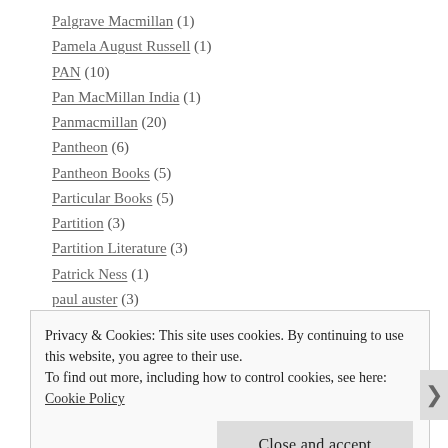Palgrave Macmillan (1)
Pamela August Russell (1)
PAN (10)
Pan MacMillan India (1)
Panmacmillan (20)
Pantheon (6)
Pantheon Books (5)
Particular Books (5)
Partition (3)
Partition Literature (3)
Patrick Ness (1)
paul auster (3)
Privacy & Cookies: This site uses cookies. By continuing to use this website, you agree to their use. To find out more, including how to control cookies, see here: Cookie Policy